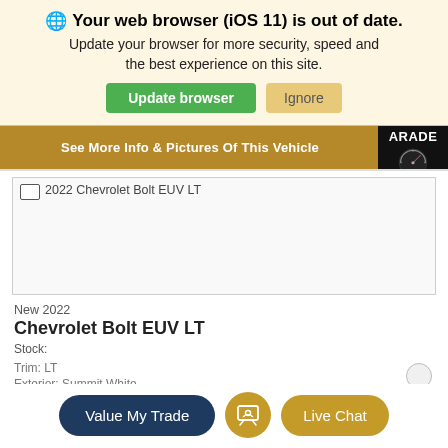🌐 Your web browser (iOS 11) is out of date. Update your browser for more security, speed and the best experience on this site.
Update browser
Ignore
[Figure (screenshot): Gold horizontal bar with text 'See More Info & Pictures Of This Vehicle' and ARADE badge at right with gauge icon]
[Figure (photo): Broken image placeholder for 2022 Chevrolet Bolt EUV LT vehicle photo]
New 2022
Chevrolet Bolt EUV LT
Stock:
Trim: LT
Exterior: Summit White
Value My Trade
Live Chat